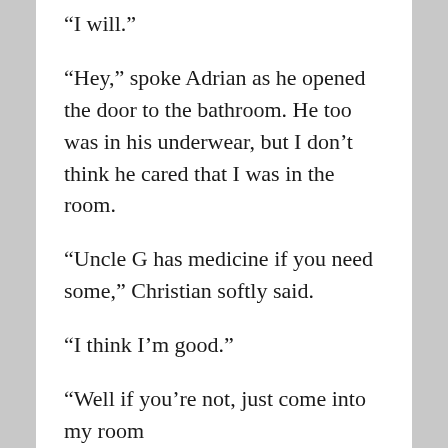“I will.”
“Hey,” spoke Adrian as he opened the door to the bathroom. He too was in his underwear, but I don’t think he cared that I was in the room.
“Uncle G has medicine if you need some,” Christian softly said.
“I think I’m good.”
“Well if you’re not, just come into my room